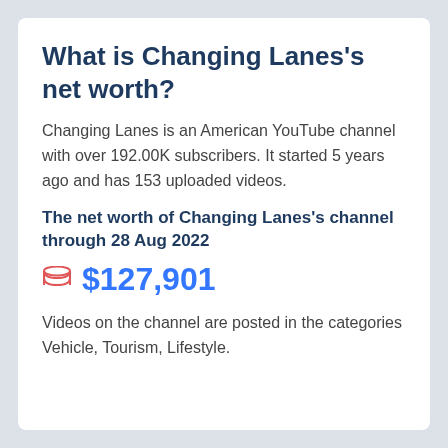What is Changing Lanes's net worth?
Changing Lanes is an American YouTube channel with over 192.00K subscribers. It started 5 years ago and has 153 uploaded videos.
The net worth of Changing Lanes's channel through 28 Aug 2022
$127,901
Videos on the channel are posted in the categories Vehicle, Tourism, Lifestyle.